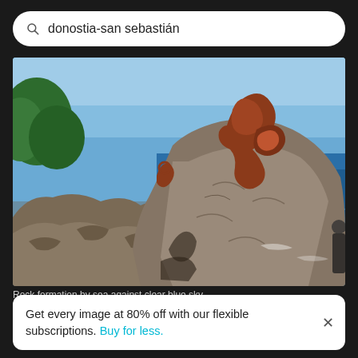donostia-san sebastián
[Figure (photo): A coastal rocky scene in Donostia-San Sebastián showing a large rock formation with rust-colored metal sculptures on it against a clear blue sky with the sea in the background.]
Rock formation by sea against clear blue sky
Get every image at 80% off with our flexible subscriptions. Buy for less.